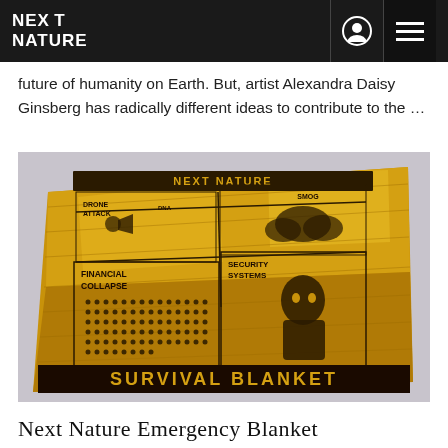NEXT NATURE
future of humanity on Earth. But, artist Alexandra Daisy Ginsberg has radically different ideas to contribute to the …
[Figure (photo): A gold mylar survival blanket laid flat, printed with black text and graphics showing various survival scenarios: 'DRONE ATTACK', 'SMOG', 'FINANCIAL COLLAPSE', 'SECURITY SYSTEMS', with the large text 'SURVIVAL BLANKET' at the bottom. The blanket is branded 'NEXT NATURE' at the top.]
Next Nature Emergency Blanket
The Survival Blanket protects against the forces of next nature: